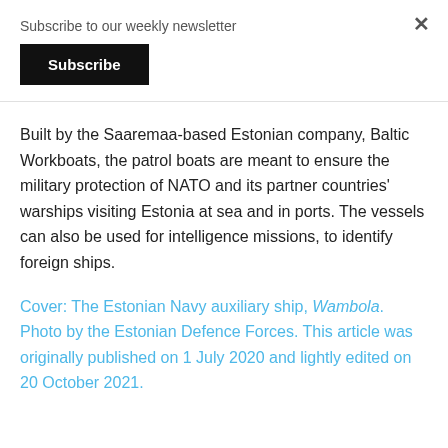Subscribe to our weekly newsletter
Subscribe
Built by the Saaremaa-based Estonian company, Baltic Workboats, the patrol boats are meant to ensure the military protection of NATO and its partner countries' warships visiting Estonia at sea and in ports. The vessels can also be used for intelligence missions, to identify foreign ships.
Cover: The Estonian Navy auxiliary ship, Wambola. Photo by the Estonian Defence Forces. This article was originally published on 1 July 2020 and lightly edited on 20 October 2021.